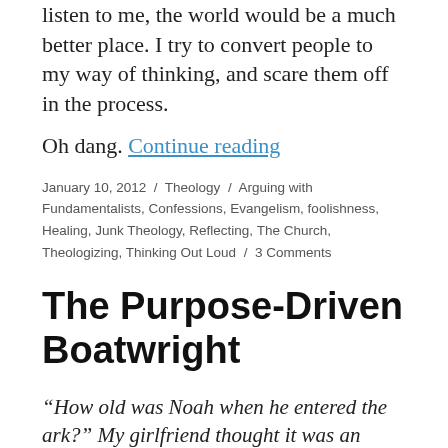listen to me, the world would be a much better place. I try to convert people to my way of thinking, and scare them off in the process.
Oh dang. Continue reading
January 10, 2012 / Theology / Arguing with Fundamentalists, Confessions, Evangelism, foolishness, Healing, Junk Theology, Reflecting, The Church, Theologizing, Thinking Out Loud / 3 Comments
The Purpose-Driven Boatwright
“How old was Noah when he entered the ark?” My girlfriend thought it was an innocent question.